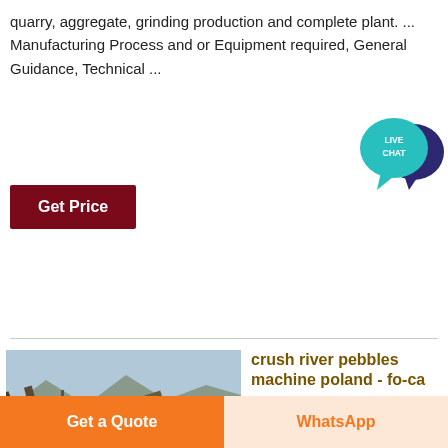quarry, aggregate, grinding production and complete plant. ... Manufacturing Process and or Equipment required, General Guidance, Technical ...
[Figure (other): Live Chat speech bubble icon with dark blue and teal colors, text: LIVE CHAT]
Get Price
[Figure (photo): Industrial mining/crushing plant with conveyor belts and machinery in a desert landscape, with ACRUSHER Mining Equipment logo overlay]
crush river pebbles machine poland - fo-ca
River Pebble Processing Plant Manufacturer -
Get a Quote
WhatsApp